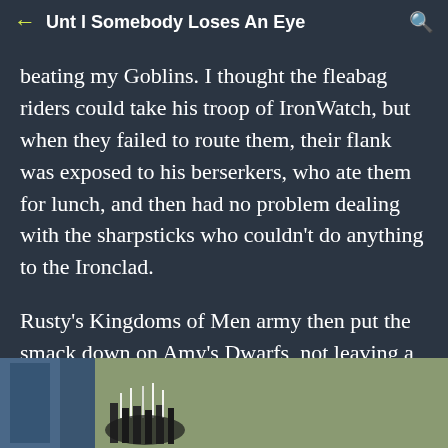Unt l Somebody Loses An Eye
beating my Goblins. I thought the fleabag riders could take his troop of IronWatch, but when they failed to route them, their flank was exposed to his berserkers, who ate them for lunch, and then had no problem dealing with the sharpsticks who couldn't do anything to the Ironclad.
Rusty's Kingdoms of Men army then put the smack down on Amy's Dwarfs, not leaving a beard left to be found on the battlefield.
[Figure (photo): Photo of miniature figurines on a gaming table with green surface, showing small dark figures with some white/light colored elements visible at the bottom of the frame.]